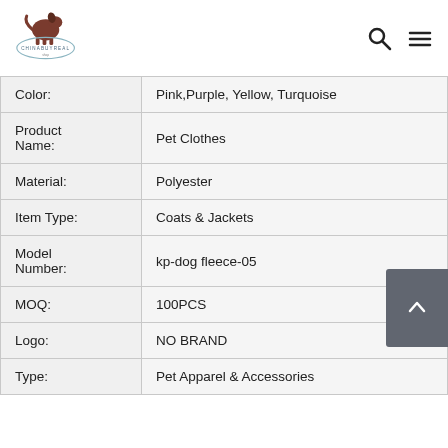[Figure (logo): ChinaBuyReal logo with a dog silhouette and circular badge]
| Color: | Pink,Purple, Yellow, Turquoise |
| Product Name: | Pet Clothes |
| Material: | Polyester |
| Item Type: | Coats & Jackets |
| Model Number: | kp-dog fleece-05 |
| MOQ: | 100PCS |
| Logo: | NO BRAND |
| Type: | Pet Apparel & Accessories |